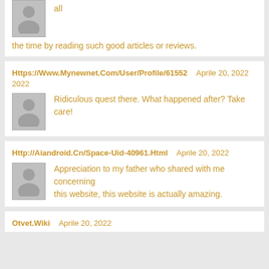all
the time by reading such good articles or reviews.
Https://Www.Mynewnet.Com/User/Profile/61552   Aprile 20, 2022
Ridiculous quest there. What happened after? Take care!
Http://Aiandroid.Cn/Space-Uid-40961.Html   Aprile 20, 2022
Appreciation to my father who shared with me concerning this website, this website is actually amazing.
Otvet.Wiki   Aprile 20, 2022